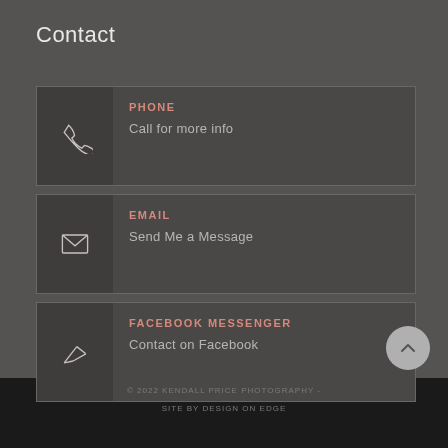Contact
PHONE - Call for more info
EMAIL - Send Me a Message
FACEBOOK MESSENGER - Contact on Facebook
© 2022 KENDALL PRICE PHOTOGRAPHY - SITE BY DESIGN ON EDGE